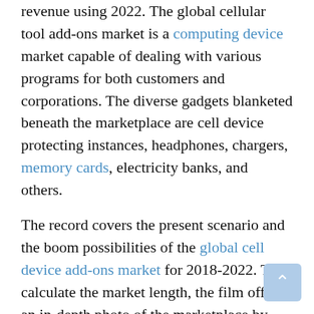revenue using 2022. The global cellular tool add-ons market is a computing device market capable of dealing with various programs for both customers and corporations. The diverse gadgets blanketed beneath the marketplace are cell device protecting instances, headphones, chargers, memory cards, electricity banks, and others.
The record covers the present scenario and the boom possibilities of the global cell device add-ons market for 2018-2022. To calculate the market length, the film offers an in-depth photo of the marketplace by looking at, synthesizing, and summation of information from more than one resource. Commenting on the file, an analyst from the studies group stated: One fashion inside the market is crowdfunding. Crowdfunding projects such as Ubuntu Edge, Nexpaq, and JuiceTank had successfully dispensed cellular smartphone accessories.
According to the file, one driving force in the marketplace is accelerated want to shield cell phones in opposition to